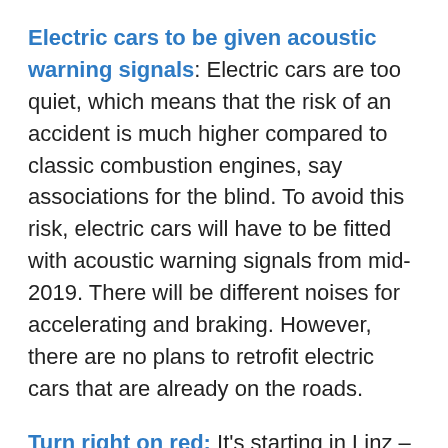Electric cars to be given acoustic warning signals: Electric cars are too quiet, which means that the risk of an accident is much higher compared to classic combustion engines, say associations for the blind. To avoid this risk, electric cars will have to be fitted with acoustic warning signals from mid-2019. There will be different noises for accelerating and braking. However, there are no plans to retrofit electric cars that are already on the roads.
Turn right on red: It's starting in Linz – a one-year pilot phase that allows drivers to turn right at three crossroads in Linz when the traffic light is red will begin on 1 April 2019. Similar rulings in countries such as France, Canada, Australia and the USA show that